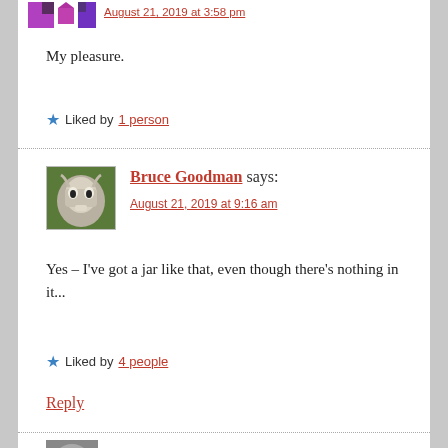August 21, 2019 at 3:58 pm
My pleasure.
★ Liked by 1 person
Bruce Goodman says:
August 21, 2019 at 9:16 am
Yes – I've got a jar like that, even though there's nothing in it...
★ Liked by 4 people
Reply